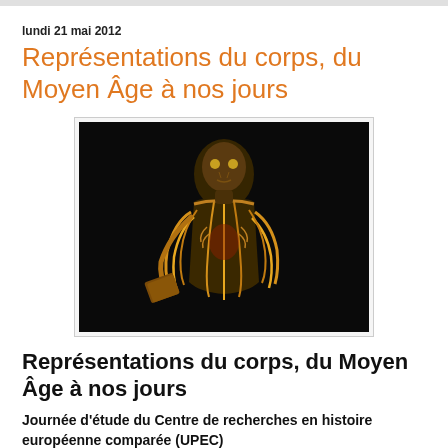lundi 21 mai 2012
Représentations du corps, du Moyen Âge à nos jours
[Figure (photo): A plastinated human body specimen displayed against a dark background, showing muscles, nerves and internal structures in gold and yellow tones, holding a book.]
Représentations du corps, du Moyen Âge à nos jours
Journée d'étude du Centre de recherches en histoire européenne comparée (UPEC)